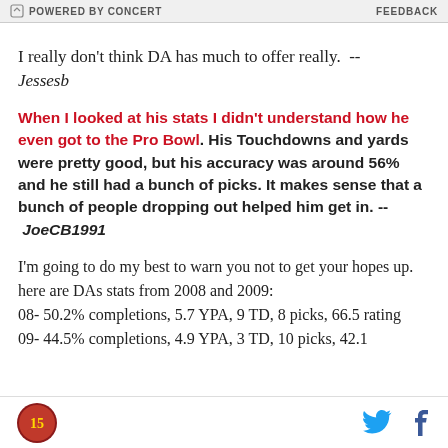POWERED BY CONCERT   FEEDBACK
I really don't think DA has much to offer really.  -- Jessesb
When I looked at his stats I didn't understand how he even got to the Pro Bowl. His Touchdowns and yards were pretty good, but his accuracy was around 56% and he still had a bunch of picks. It makes sense that a bunch of people dropping out helped him get in. -- JoeCB1991
I'm going to do my best to warn you not to get your hopes up. here are DAs stats from 2008 and 2009:
08- 50.2% completions, 5.7 YPA, 9 TD, 8 picks, 66.5 rating
09- 44.5% completions, 4.9 YPA, 3 TD, 10 picks, 42.1
Logo | Twitter | Facebook